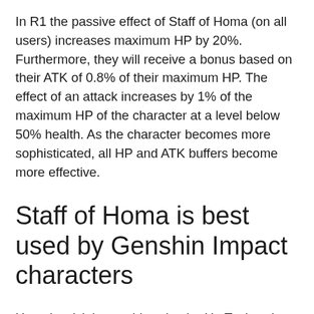In R1 the passive effect of Staff of Homa (on all users) increases maximum HP by 20%. Furthermore, they will receive a bonus based on their ATK of 0.8% of their maximum HP. The effect of an attack increases by 1% of the maximum HP of the character at a level below 50% health. As the character becomes more sophisticated, all HP and ATK buffers become more effective.
Staff of Homa is best used by Genshin Impact characters
Homa's stick is considered to be Hu Tao's best weapon in Genshin Impact and one of his strongest weapons in general. The